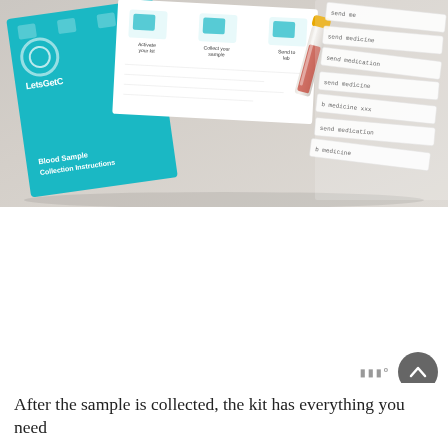[Figure (photo): Photograph of a LetsGetChecked blood sample collection kit laid out on a white surface, showing a teal booklet labeled 'Blood Sample Collection Instructions', a white instruction card with three steps (Activate your kit, Collect your sample, Send to lab), a yellow-capped blood collection tube, and several adhesive label stickers with handwritten-style text.]
After the sample is collected, the kit has everything you need